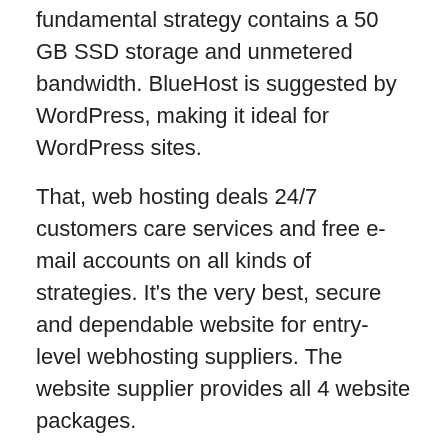fundamental strategy contains a 50 GB SSD storage and unmetered bandwidth. BlueHost is suggested by WordPress, making it ideal for WordPress sites.
That, web hosting deals 24/7 customers care services and free e-mail accounts on all kinds of strategies. It’s the very best, secure and dependable website for entry-level webhosting suppliers. The website supplier provides all 4 website packages.
Features
Offer all four types of hosting web package
24/7 consumer care service
Pre-installed WordPress